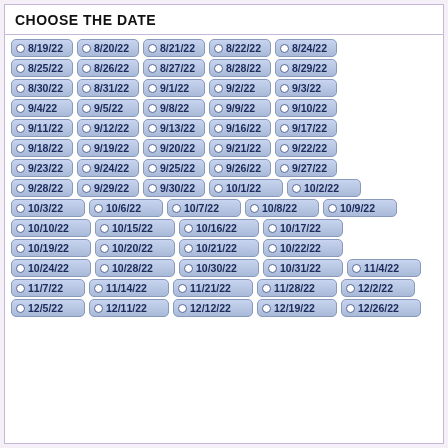CHOOSE THE DATE
8/19/22
8/20/22
8/21/22
8/22/22
8/24/22
8/25/22
8/26/22
8/27/22
8/28/22
8/29/22
8/30/22
8/31/22
9/1/22
9/2/22
9/3/22
9/4/22
9/5/22
9/8/22
9/9/22
9/10/22
9/11/22
9/12/22
9/13/22
9/16/22
9/17/22
9/18/22
9/19/22
9/20/22
9/21/22
9/22/22
9/23/22
9/24/22
9/25/22
9/26/22
9/27/22
9/28/22
9/29/22
9/30/22
10/1/22
10/2/22
10/3/22
10/6/22
10/7/22
10/8/22
10/9/22
10/10/22
10/15/22
10/16/22
10/17/22
10/19/22
10/20/22
10/21/22
10/22/22
10/24/22
10/28/22
10/30/22
10/31/22
11/4/22
11/7/22
11/14/22
11/21/22
11/28/22
12/2/22
12/5/22
12/11/22
12/12/22
12/19/22
12/26/22